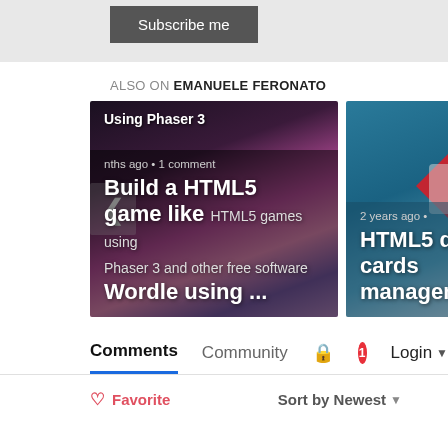[Figure (screenshot): Subscribe me button on grey background]
ALSO ON EMANUELE FERONATO
[Figure (screenshot): Two article cards: 'Build a HTML5 game like Wordle using ...' (months ago, 1 comment) and 'HTML5 deck cards management' (2 years ago). Left/right navigation arrows visible.]
Comments | Community | (lock icon) | (notification badge 1) | Login ▾
♡ Favorite    Sort by Newest ▾